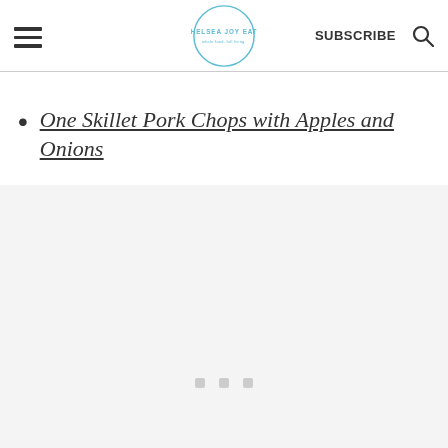Chelsea Joy Eats — SUBSCRIBE
One Skillet Pork Chops with Apples and Onions